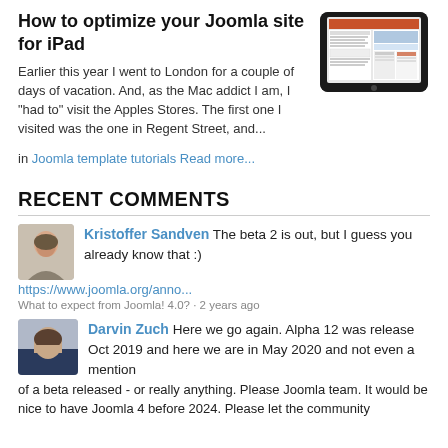How to optimize your Joomla site for iPad
Earlier this year I went to London for a couple of days of vacation. And, as the Mac addict I am, I "had to" visit the Apples Stores. The first one I visited was the one in Regent Street, and...
in Joomla template tutorials Read more...
[Figure (screenshot): Screenshot of a Joomla website displayed on an iPad device]
RECENT COMMENTS
Kristoffer Sandven The beta 2 is out, but I guess you already know that :)
https://www.joomla.org/anno...
What to expect from Joomla! 4.0? · 2 years ago
Darvin Zuch Here we go again. Alpha 12 was release Oct 2019 and here we are in May 2020 and not even a mention of a beta released - or really anything. Please Joomla team. It would be nice to have Joomla 4 before 2024. Please let the community